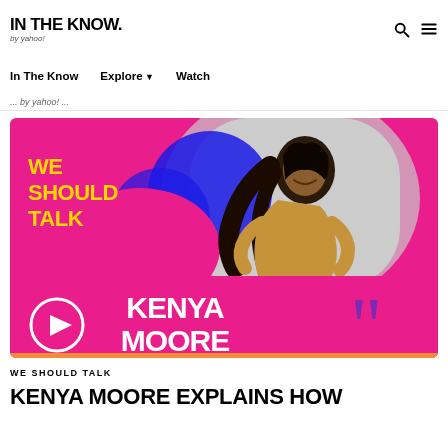IN THE KNOW. by yahoo!
In The Know   Explore ▼   Watch
... by yahoo! ...
[Figure (photo): We Should Talk podcast thumbnail featuring Kenya Moore in a gold dress on a magenta background with large quote mark graphics and play button]
WE SHOULD TALK
KENYA MOORE EXPLAINS HOW